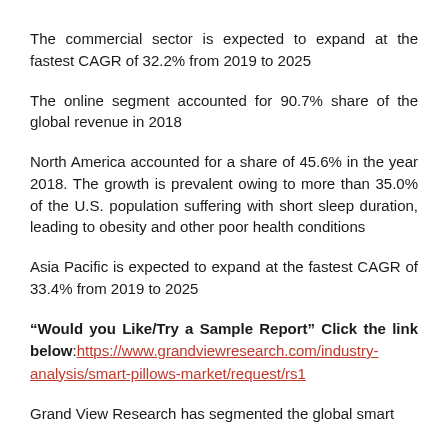The commercial sector is expected to expand at the fastest CAGR of 32.2% from 2019 to 2025
The online segment accounted for 90.7% share of the global revenue in 2018
North America accounted for a share of 45.6% in the year 2018. The growth is prevalent owing to more than 35.0% of the U.S. population suffering with short sleep duration, leading to obesity and other poor health conditions
Asia Pacific is expected to expand at the fastest CAGR of 33.4% from 2019 to 2025
“Would you Like/Try a Sample Report” Click the link below:https://www.grandviewresearch.com/industry-analysis/smart-pillows-market/request/rs1
Grand View Research has segmented the global smart